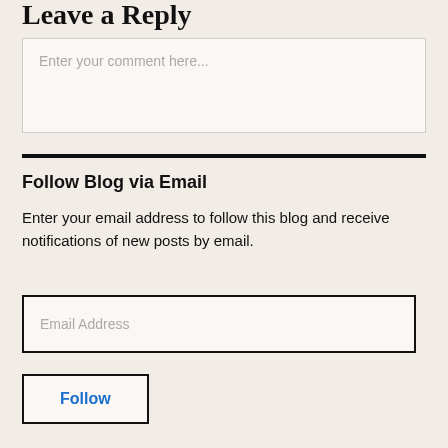Leave a Reply
[Figure (other): Comment text input box with placeholder text 'Enter your comment here...']
Follow Blog via Email
Enter your email address to follow this blog and receive notifications of new posts by email.
[Figure (other): Email address input box with placeholder text 'Email Address']
Follow